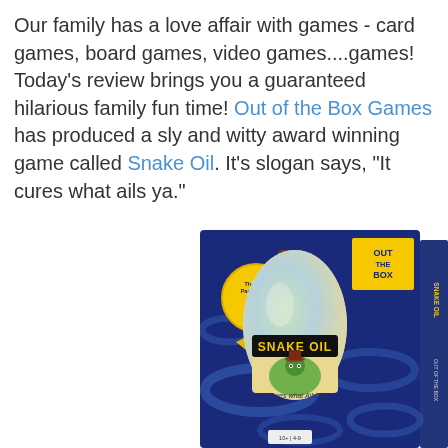Our family has a love affair with games - card games, board games, video games....games! Today's review brings you a guaranteed hilarious family fun time! Out of the Box Games has produced a sly and witty award winning game called Snake Oil. It's slogan says, "It cures what ails ya."
[Figure (photo): Product box of the Snake Oil board game by Out of the Box Games. The box has a dark blue background with swirling snake designs. A large illustrated bottle labeled 'SNAKE OIL' with a cartoon snake wearing a hat is shown on the front. A yellow award ribbon reads 'The Best Party Game in the World!' The box also shows 'OUT THE BOX' branding and text 'It Cures what Ails Ya.' at the bottom of the bottle.]